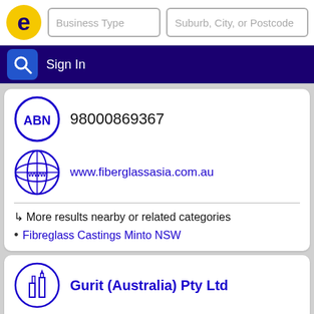[Figure (screenshot): Top navigation bar with yellow 'e' logo, Business Type search input, Suburb/City/Postcode search input, dark navy Sign In bar with magnifying glass icon]
ABN  98000869367
www.fiberglassasia.com.au
↳ More results nearby or related categories
Fibreglass Castings Minto NSW
Gurit (Australia) Pty Ltd
Mona Vale
Call 02 99797248